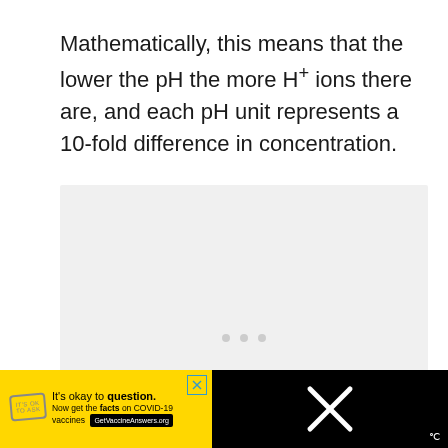Mathematically, this means that the lower the pH the more H⁺ ions there are, and each pH unit represents a 10-fold difference in concentration.
[Figure (other): Gray placeholder box with three dots indicating loading content, likely a video or interactive element]
[Figure (other): Advertisement banner: yellow section with 'It's okay to question. Now get the facts on COVID-19 vaccines GetVaccineAnswers.org' and black section with X close icon]